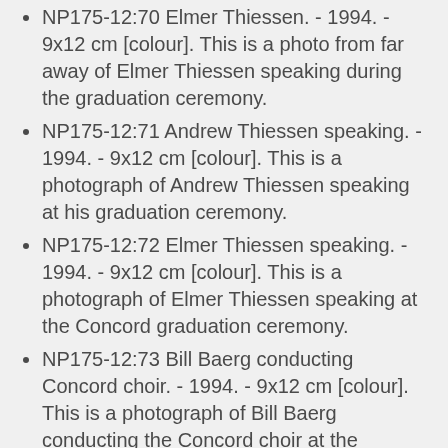NP175-12:70 Elmer Thiessen. - 1994. - 9x12 cm [colour]. This is a photo from far away of Elmer Thiessen speaking during the graduation ceremony.
NP175-12:71 Andrew Thiessen speaking. - 1994. - 9x12 cm [colour]. This is a photograph of Andrew Thiessen speaking at his graduation ceremony.
NP175-12:72 Elmer Thiessen speaking. - 1994. - 9x12 cm [colour]. This is a photograph of Elmer Thiessen speaking at the Concord graduation ceremony.
NP175-12:73 Bill Baerg conducting Concord choir. - 1994. - 9x12 cm [colour]. This is a photograph of Bill Baerg conducting the Concord choir at the graduation ceremony.
NP175-12:74 Elmer Thiessen and his son Andrew Thiessen. - 1994. - 9x12